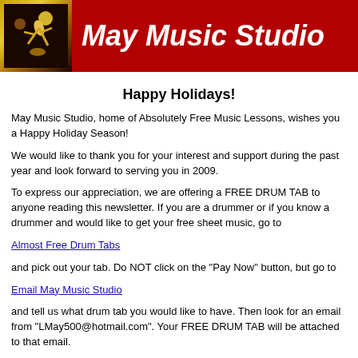[Figure (logo): May Music Studio header banner with red background, kokopelli logo on left, and white italic bold text 'May Music Studio' on right]
Happy Holidays!
May Music Studio, home of Absolutely Free Music Lessons, wishes you a Happy Holiday Season!
We would like to thank you for your interest and support during the past year and look forward to serving you in 2009.
To express our appreciation, we are offering a FREE DRUM TAB to anyone reading this newsletter. If you are a drummer or if you know a drummer and would like to get your free sheet music, go to
Almost Free Drum Tabs
and pick out your tab. Do NOT click on the "Pay Now" button, but go to
Email May Music Studio
and tell us what drum tab you would like to have. Then look for an email from "LMay500@hotmail.com". Your FREE DRUM TAB will be attached to that email.
***This gift offer applies ONLY to those tabs already on the site and NOT to custom ordered tabs.